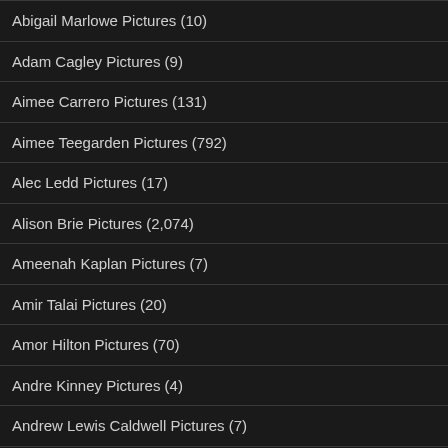Abigail Marlowe Pictures (10)
Adam Cagley Pictures (9)
Aimee Carrero Pictures (131)
Aimee Teegarden Pictures (792)
Alec Ledd Pictures (17)
Alison Brie Pictures (2,074)
Ameenah Kaplan Pictures (7)
Amir Talai Pictures (20)
Amor Hilton Pictures (70)
Andre Kinney Pictures (4)
Andrew Lewis Caldwell Pictures (7)
Andy Pessoa Pictures (29)
Angel Parker Pictures (42)